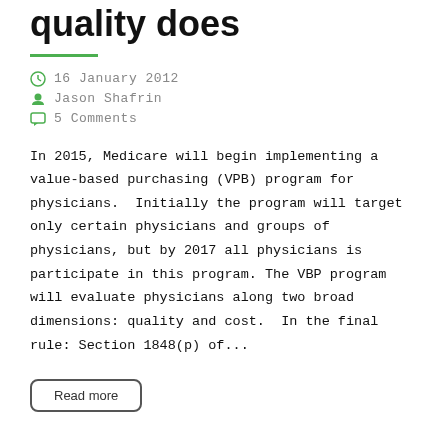quality does
16 January 2012
Jason Shafrin
5 Comments
In 2015, Medicare will begin implementing a value-based purchasing (VPB) program for physicians.  Initially the program will target only certain physicians and groups of physicians, but by 2017 all physicians is participate in this program. The VBP program will evaluate physicians along two broad dimensions: quality and cost.  In the final rule: Section 1848(p) of...